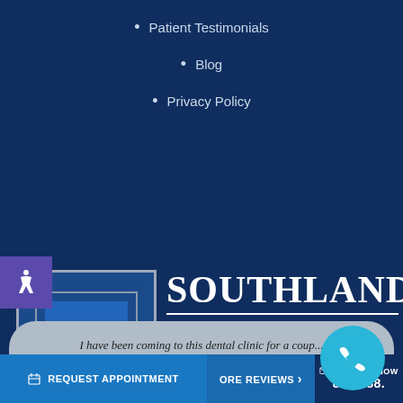Patient Testimonials
Blog
Privacy Policy
[Figure (logo): Southland Dental Care logo with SDC initials in blue and gold on a blue square background with grey border]
SOUTHLAND DENTAL CARE
I have been coming to this dental clinic for a coup... years. Love the staff and the dentists. - Yun K...
REQUEST APPOINTMENT
ORE REVIEWS >
CONTACT NOW 818.788.